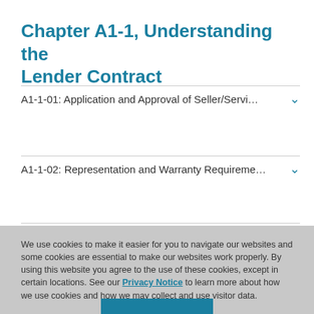Chapter A1-1, Understanding the Lender Contract
A1-1-01: Application and Approval of Seller/Servi...
A1-1-02: Representation and Warranty Requireme...
We use cookies to make it easier for you to navigate our websites and some cookies are essential to make our websites work properly. By using this website you agree to the use of these cookies, except in certain locations. See our Privacy Notice to learn more about how we use cookies and how we may collect and use visitor data.